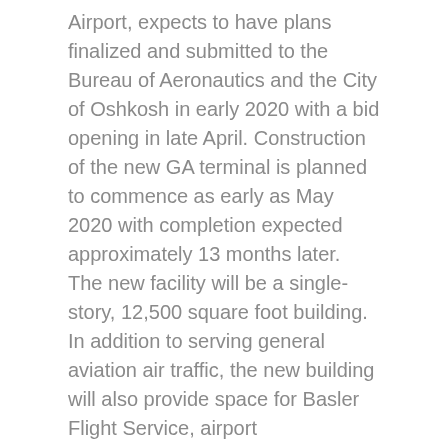Airport, expects to have plans finalized and submitted to the Bureau of Aeronautics and the City of Oshkosh in early 2020 with a bid opening in late April. Construction of the new GA terminal is planned to commence as early as May 2020 with completion expected approximately 13 months later. The new facility will be a single-story, 12,500 square foot building. In addition to serving general aviation air traffic, the new building will also provide space for Basler Flight Service, airport administrative offices, space for a rental car operation and meeting rooms available to the general public.
Total construction cost on the project is currently estimated at $6.8 million. Grant assistance from the Wisconsin Bureau of Aeronautics will be received in the amount of $1.8 million with the remaining balance being funded by the county. The